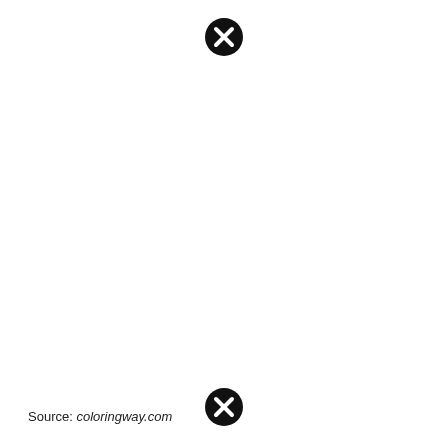[Figure (illustration): Black circle with white X close button icon, positioned near top center of page]
Source: coloringway.com
[Figure (illustration): Black circle with white X close button icon, positioned near bottom center of page]